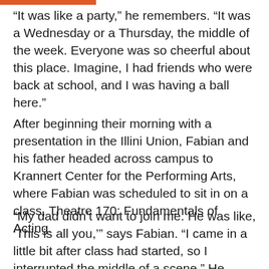“It was like a party,” he remembers. “It was a Wednesday or a Thursday, the middle of the week. Everyone was so cheerful about this place. Imagine, I had friends who were back at school, and I was having a ball here.”
After beginning their morning with a presentation in the Illini Union, Fabian and his father headed across campus to Krannert Center for the Performing Arts, where Fabian was scheduled to sit in on a class, Theatre 170: Fundamentals of Acting.
“My dad didn’t want to join me. He was like, ‘This is all you,’” says Fabian. “I came in a little bit after class had started, so I interrupted the middle of a scene.” He introduced himself quickly and sat in the